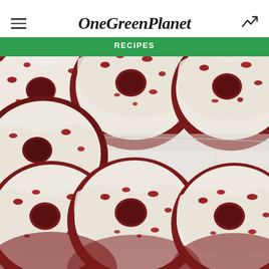OneGreenPlanet
By ... RECIPES ...
[Figure (photo): Overhead view of six red velvet donuts with white cream cheese frosting and red velvet crumbles on top, arranged on a white marble surface.]